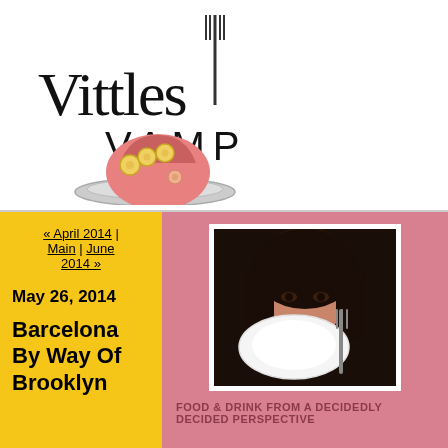[Figure (logo): Vittles Vamp logo: stylized text with a fork and a ham/roast on a plate illustration]
« April 2014 | Main | June 2014 »
May 26, 2014
Barcelona By Way Of Brooklyn
[Figure (photo): Woman with dark hair peeking over a white plate with a fork, photographed against a dark background]
FOOD & DRINK FROM A DECIDEDLY DECIDED PERSPECTIVE